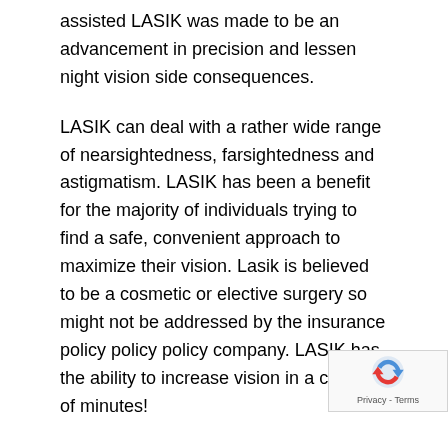assisted LASIK was made to be an advancement in precision and lessen night vision side consequences.
LASIK can deal with a rather wide range of nearsightedness, farsightedness and astigmatism. LASIK has been a benefit for the majority of individuals trying to find a safe, convenient approach to maximize their vision. Lasik is believed to be a cosmetic or elective surgery so might not be addressed by the insurance policy policy policy company. LASIK has the ability to increase vision in a couple of minutes!
LASIK is almost universally regarded as one of the most important investments a person can make in their wellness and higher quality of life. The amount of LASIK varies. The quantity of LASIK varies. Though many people believe that LASIK is the sole sort of refractive surgery, there are in fact various kinds of eye surgery correcting vision. Also there are a few commonplace, but not serious, side effects that can happen including dry eyes, halos and loss of contrast sensitivity.